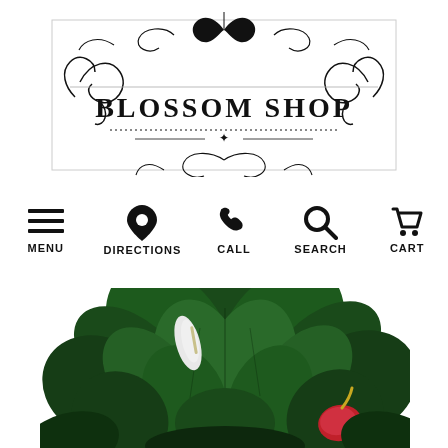[Figure (logo): Blossom Shop ornate logo with decorative scrollwork and the text BLOSSOM SHOP in bold serif font]
[Figure (infographic): Navigation bar with five icons: hamburger menu (MENU), location pin (DIRECTIONS), phone (CALL), magnifying glass (SEARCH), shopping cart (CART)]
[Figure (photo): Photo of tropical houseplants including a peace lily with white spathe flowers and a red anthurium plant with lush green foliage]